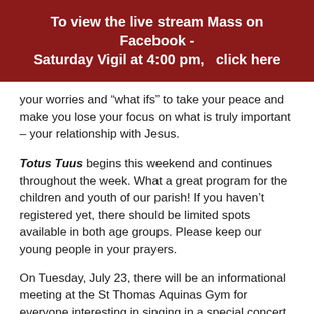To view the live stream Mass on Facebook - Saturday Vigil at 4:00 pm,  click here
your worries and “what ifs” to take your peace and make you lose your focus on what is truly important – your relationship with Jesus.
Totus Tuus begins this weekend and continues throughout the week. What a great program for the children and youth of our parish! If you haven’t registered yet, there should be limited spots available in both age groups. Please keep our young people in your prayers.
On Tuesday, July 23, there will be an informational meeting at the St Thomas Aquinas Gym for everyone interesting in singing in a special concert of Dan Forest’s